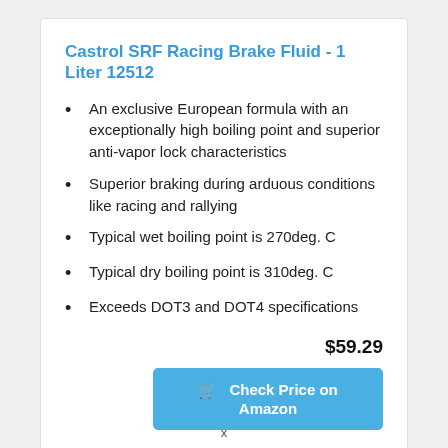Castrol SRF Racing Brake Fluid - 1 Liter 12512
An exclusive European formula with an exceptionally high boiling point and superior anti-vapor lock characteristics
Superior braking during arduous conditions like racing and rallying
Typical wet boiling point is 270deg. C
Typical dry boiling point is 310deg. C
Exceeds DOT3 and DOT4 specifications
$59.29
Check Price on Amazon
x